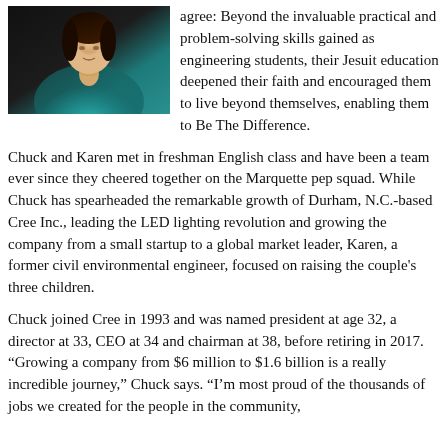[Figure (photo): Portrait photo of a woman in a teal/turquoise top against a dark background]
agree: Beyond the invaluable practical and problem-solving skills gained as engineering students, their Jesuit education deepened their faith and encouraged them to live beyond themselves, enabling them to Be The Difference.
Chuck and Karen met in freshman English class and have been a team ever since they cheered together on the Marquette pep squad. While Chuck has spearheaded the remarkable growth of Durham, N.C.-based Cree Inc., leading the LED lighting revolution and growing the company from a small startup to a global market leader, Karen, a former civil environmental engineer, focused on raising the couple’s three children.
Chuck joined Cree in 1993 and was named president at age 32, a director at 33, CEO at 34 and chairman at 38, before retiring in 2017. “Growing a company from $6 million to $1.6 billion is a really incredible journey,” Chuck says. “I’m most proud of the thousands of jobs we created for the people in the community,